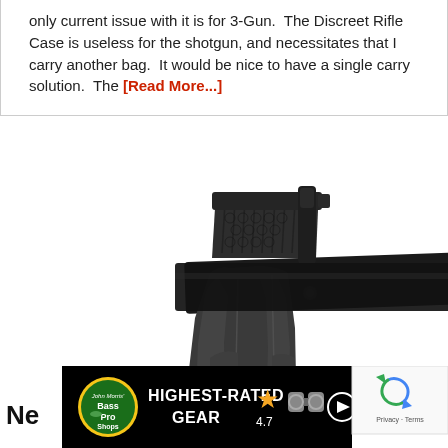only current issue with it is for 3-Gun. The Discreet Rifle Case is useless for the shotgun, and necessitates that I carry another bag. It would be nice to have a single carry solution. The [Read More...]
[Figure (photo): A dark grey/black tactical gun holster with a pistol partially inserted. The holster is rigid polymer construction with textured grip and belt attachment hardware visible.]
[Figure (infographic): Advertisement banner: Bass Pro Shops 'Highest-Rated Gear' ad with yellow star rating 4.7, binoculars image, and play button on black background. Partial 'Ne' text on white left side. reCAPTCHA logo in corner.]